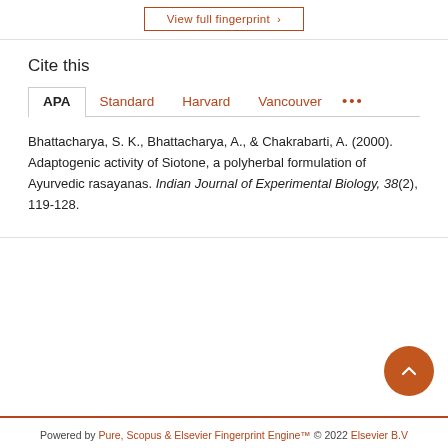View full fingerprint ›
Cite this
APA | Standard | Harvard | Vancouver | ...
Bhattacharya, S. K., Bhattacharya, A., & Chakrabarti, A. (2000). Adaptogenic activity of Siotone, a polyherbal formulation of Ayurvedic rasayanas. Indian Journal of Experimental Biology, 38(2), 119-128.
Powered by Pure, Scopus & Elsevier Fingerprint Engine™ © 2022 Elsevier B.V